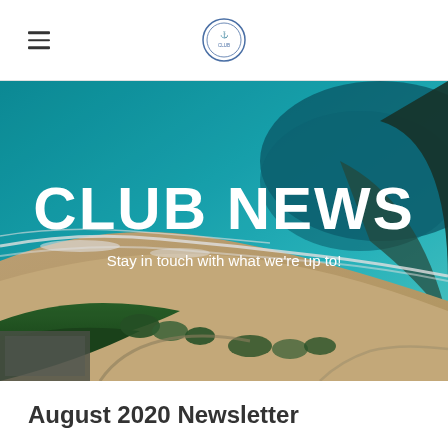Club logo and navigation header
[Figure (photo): Aerial photograph of a beach with turquoise water, sandy shore, waves, green vegetation, and parking area. Overlaid with CLUB NEWS title and subtitle text.]
CLUB NEWS
Stay in touch with what we're up to!
August 2020 Newsletter